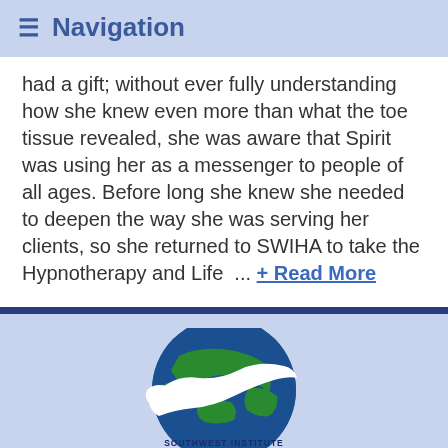Navigation
had a gift; without ever fully understanding how she knew even more than what the toe tissue revealed, she was aware that Spirit was using her as a messenger to people of all ages. Before long she knew she needed to deepen the way she was serving her clients, so she returned to SWIHA to take the Hypnotherapy and Life ... + Read More
[Figure (logo): Southwest Institute of Healing Arts logo with globe and dolphin graphic, text reads SOUTHWEST INSTITUTE of HEALING ARTS graduating great people worldwide]
Southwest Institute of Healing Arts
Request Info